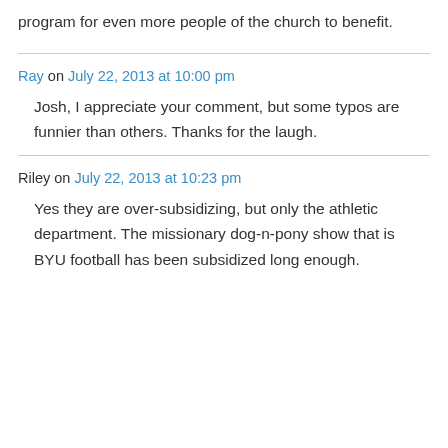program for even more people of the church to benefit.
Ray on July 22, 2013 at 10:00 pm

Josh, I appreciate your comment, but some typos are funnier than others. Thanks for the laugh.
Riley on July 22, 2013 at 10:23 pm

Yes they are over-subsidizing, but only the athletic department. The missionary dog-n-pony show that is BYU football has been subsidized long enough.